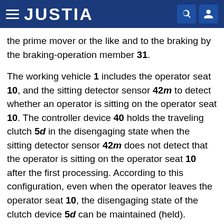JUSTIA
the prime mover or the like and to the braking by the braking-operation member 31.
The working vehicle 1 includes the operator seat 10, and the sitting detector sensor 42m to detect whether an operator is sitting on the operator seat 10. The controller device 40 holds the traveling clutch 5d in the disengaging state when the sitting detector sensor 42m does not detect that the operator is sitting on the operator seat 10 after the first processing. According to this configuration, even when the operator leaves the operator seat 10, the disengaging state of the clutch device 5d can be maintained (held).
The working vehicle 1 includes the notifier device 52 to notify that the first processing has been performed. According to this configuration, the operator can easily